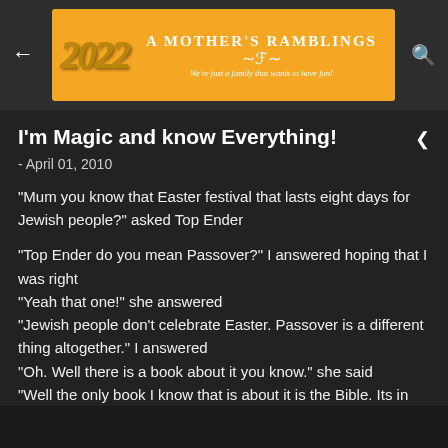A Mother's Ramblings — We're just a family that wants to have fun!
I'm Magic and know Everything!
- April 01, 2010
"Mum you know that Easter festival that lasts eight days for Jewish people?" asked Top Ender
"Top Ender do you mean Passover?" I answered hoping that I was right
"Yeah that one!" she answered
"Jewish people don't celebrate Easter. Passover is a different thing altogether." I answered
"Oh. Well there is a book about it you know." she said
"Well the only book I know that is about it is the Bible. Its in